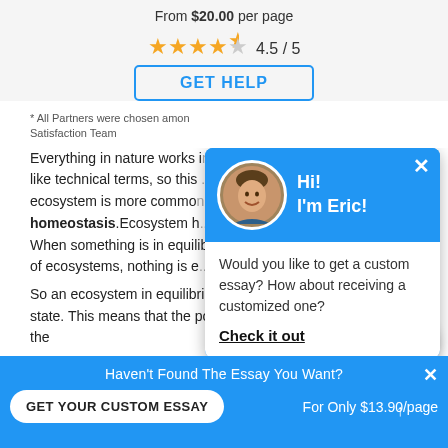From $20.00 per page
4.5 / 5
GET HELP
* All Partners were chosen among ... Satisfaction Team
Everything in nature works in... like technical terms, so this... ecosystem is more common... homeostasis.Ecosystem h... When something is in equilibr... of ecosystems, nothing is e...
Would you like to get a custom essay? How about receiving a customized one?
Check it out
Hi!
I'm Eric!
So an ecosystem in equilibrium is said to be in a relative... state. This means that the populations of various animals in the
Haven't Found The Essay You Want?
GET YOUR CUSTOM ESSAY
For Only $13.90/page